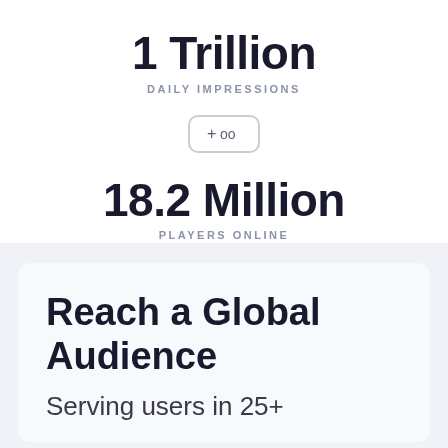1 Trillion
DAILY IMPRESSIONS
[Figure (other): Icon showing a plus sign and infinity/circles symbol inside a rounded rectangle border]
18.2 Million
PLAYERS ONLINE
Reach a Global Audience
Serving users in 25+